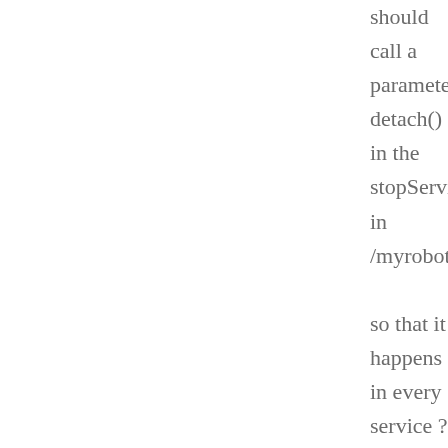should call a parameterless detach() in the stopService in /myrobotlab so that it happens in every service ? -------- -------- --------